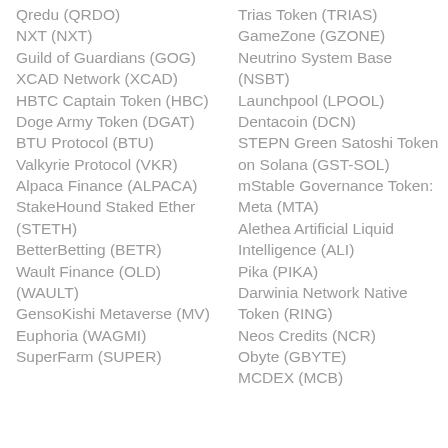Qredu (QRDO)
Trias Token (TRIAS)
NXT (NXT)
GameZone (GZONE)
Guild of Guardians (GOG)
Neutrino System Base (NSBT)
XCAD Network (XCAD)
Launchpool (LPOOL)
HBTC Captain Token (HBC)
Dentacoin (DCN)
Doge Army Token (DGAT)
STEPN Green Satoshi Token on Solana (GST-SOL)
BTU Protocol (BTU)
mStable Governance Token: Meta (MTA)
Valkyrie Protocol (VKR)
Alethea Artificial Liquid Intelligence (ALI)
Alpaca Finance (ALPACA)
Pika (PIKA)
StakeHound Staked Ether (STETH)
Darwinia Network Native Token (RING)
BetterBetting (BETR)
Neos Credits (NCR)
Wault Finance (OLD) (WAULT)
Obyte (GBYTE)
GensoKishi Metaverse (MV)
MCDEX (MCB)
Euphoria (WAGMI)
SuperFarm (SUPER)